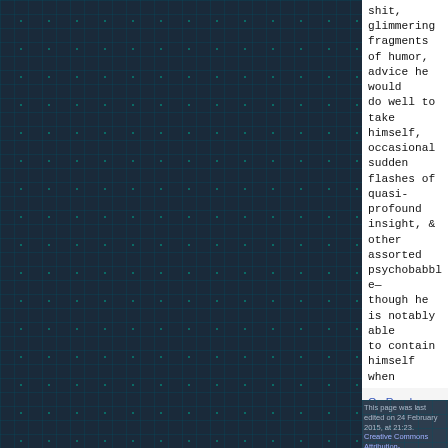[Figure (other): Dark teal/navy grid mosaic background pattern covering the left two-thirds of the page]
shit, glimmering fragments of humor, advice he would do well to take himself, occasional sudden flashes of quasi-profound insight, & other assorted psychobabble—though he is notably able to contain himself when necessary, for instance at the meeting last night [...]"
On Randomness
Category:  Replicant
This page was last edited on 24 February 2015, at 21:23. • Privacy policy • About Charas Project • Disclaimers • Creative Commons Attribution-NonCommercial-ShareAlike • Powered by MediaWiki